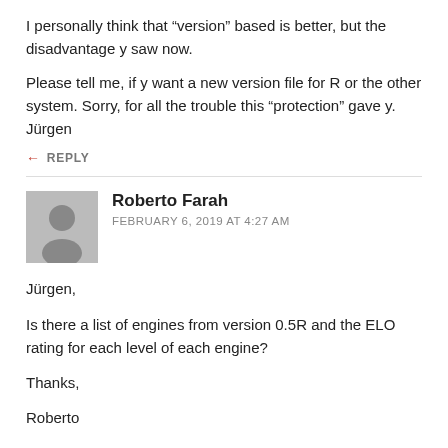I personally think that “version” based is better, but the disadvantage y saw now.
Please tell me, if y want a new version file for R or the other system. Sorry, for all the trouble this “protection” gave y.
Jürgen
← REPLY
Roberto Farah
FEBRUARY 6, 2019 AT 4:27 AM
Jürgen,
Is there a list of engines from version 0.5R and the ELO rating for each level of each engine?
Thanks,
Roberto